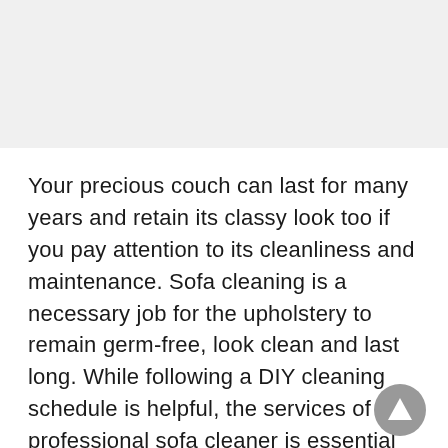Your precious couch can last for many years and retain its classy look too if you pay attention to its cleanliness and maintenance. Sofa cleaning is a necessary job for the upholstery to remain germ-free, look clean and last long. While following a DIY cleaning schedule is helpful, the services of a professional sofa cleaner is essential for its durability.